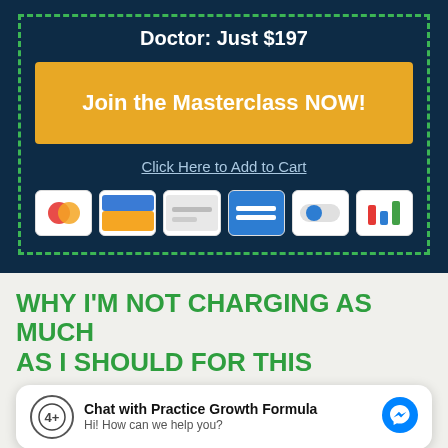Doctor: Just $197
Join the Masterclass NOW!
Click Here to Add to Cart
[Figure (other): Row of six payment method icons: Mastercard, a bank card with blue/orange, a grey card, a blue card with white lines, a toggle-style icon, and a colorful bar chart icon]
WHY I'M NOT CHARGING AS MUCH AS I SHOULD FOR THIS
Chat with Practice Growth Formula
Hi! How can we help you?
Since I transitioned from full-time clinical work